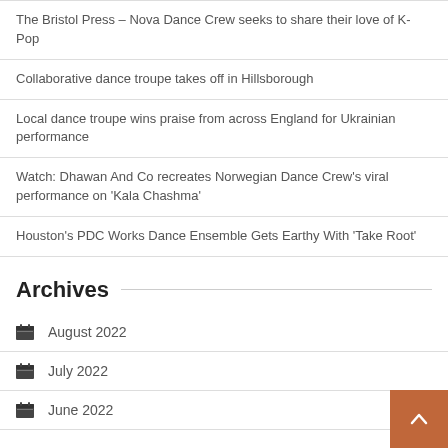The Bristol Press – Nova Dance Crew seeks to share their love of K-Pop
Collaborative dance troupe takes off in Hillsborough
Local dance troupe wins praise from across England for Ukrainian performance
Watch: Dhawan And Co recreates Norwegian Dance Crew's viral performance on 'Kala Chashma'
Houston's PDC Works Dance Ensemble Gets Earthy With 'Take Root'
Archives
August 2022
July 2022
June 2022